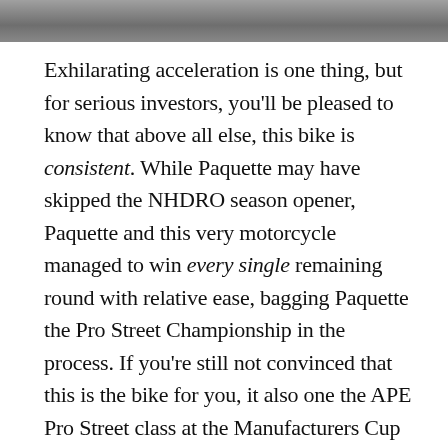[Figure (photo): Partial photo strip at top of page, showing a blurred/cropped image in grey tones]
Exhilarating acceleration is one thing, but for serious investors, you'll be pleased to know that above all else, this bike is consistent. While Paquette may have skipped the NHDRO season opener, Paquette and this very motorcycle managed to win every single remaining round with relative ease, bagging Paquette the Pro Street Championship in the process. If you're still not convinced that this is the bike for you, it also one the APE Pro Street class at the Manufacturers Cup race at the Rockingham Dragway in North